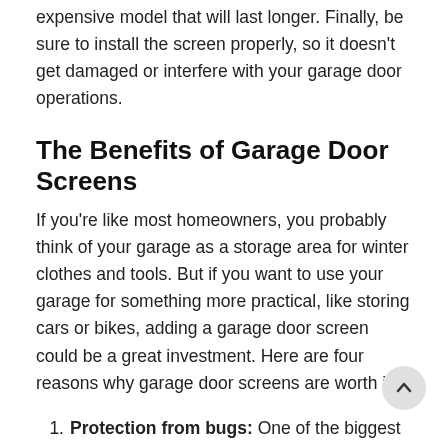expensive model that will last longer. Finally, be sure to install the screen properly, so it doesn't get damaged or interfere with your garage door operations.
The Benefits of Garage Door Screens
If you're like most homeowners, you probably think of your garage as a storage area for winter clothes and tools. But if you want to use your garage for something more practical, like storing cars or bikes, adding a garage door screen could be a great investment. Here are four reasons why garage door screens are worth it:
Protection from bugs: One of the biggest benefits of using a garage door screen is protecting your cars and bikes from bugs and other pests. Not only will bugs not be able to crawl inside to damage your vehicles, but they also won't be able to get access to valuable items stored inside your garage.